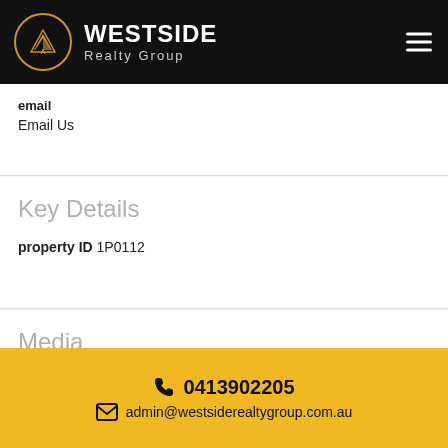WESTSIDE Realty Group
email
Email Us
Key Details
property ID 1P0112
Media
0413902205 | admin@westsiderealtygroup.com.au